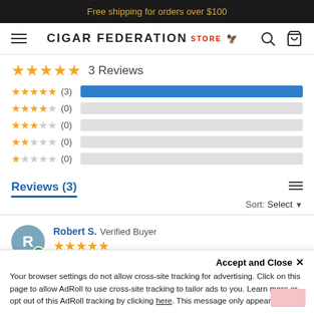Free shipping for orders over $100
[Figure (logo): Cigar Federation Store logo with hamburger menu, search and cart icons]
★★★★★ 3 Reviews
★★★★★ (3) [full bar]
★★★★☆ (0) [empty bar]
★★★☆☆ (0) [empty bar]
★★☆☆☆ (0) [empty bar]
★☆☆☆☆ (0) [empty bar]
Reviews (3)
Sort: Select
Robert S. Verified Buyer
Accept and Close ✕
Your browser settings do not allow cross-site tracking for advertising. Click on this page to allow AdRoll to use cross-site tracking to tailor ads to you. Learn more or opt out of this AdRoll tracking by clicking here. This message only appears once.